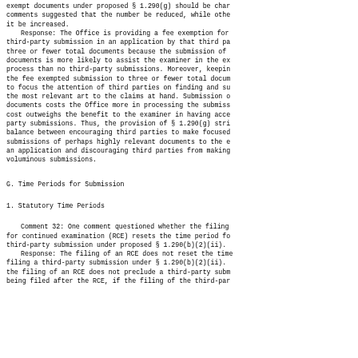exempt documents under proposed § 1.290(g) should be charged; some comments suggested that the number be reduced, while others suggested it be increased.
    Response: The Office is providing a fee exemption for a third-party submission in an application by that third party of three or fewer total documents because the submission of a few documents is more likely to assist the examiner in the examination process than no third-party submissions. Moreover, keeping the fee exempted submission to three or fewer total documents helps to focus the attention of third parties on finding and submitting the most relevant art to the claims at hand. Submission of more documents costs the Office more in processing the submission and the cost outweighs the benefit to the examiner in having access to third-party submissions. Thus, the provision of § 1.290(g) strikes a balance between encouraging third parties to make focused submissions of perhaps highly relevant documents to the examiner in an application and discouraging third parties from making voluminous submissions.
G. Time Periods for Submission
1. Statutory Time Periods
Comment 32: One comment questioned whether the filing of a request for continued examination (RCE) resets the time period for a third-party submission under proposed § 1.290(b)(2)(ii).
    Response: The filing of an RCE does not reset the time period for filing a third-party submission under § 1.290(b)(2)(ii). However, the filing of an RCE does not preclude a third-party submission from being filed after the RCE, if the filing of the third-party